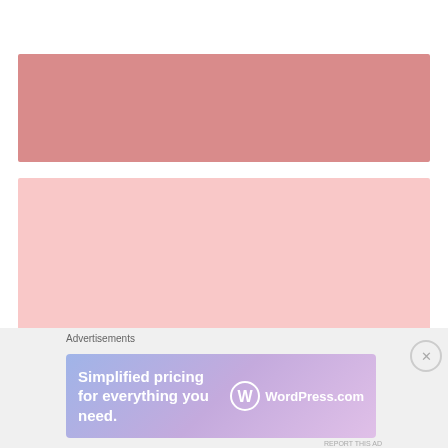[Figure (illustration): A dusky rose/mauve colored rectangular block serving as a decorative banner image]
[Figure (illustration): A light pink colored rectangular block serving as a decorative banner image]
29, I'm ready.
Advertisements
[Figure (other): WordPress.com advertisement banner: 'Simplified pricing for everything you need.' with WordPress.com logo on gradient purple-pink background]